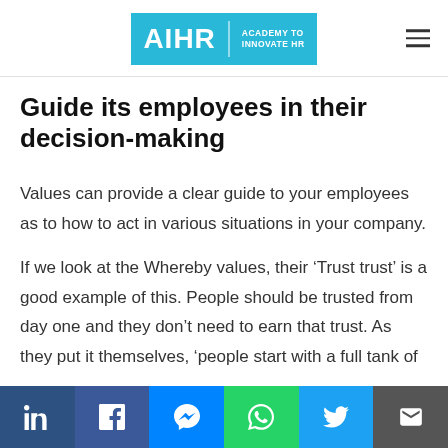AIHR | ACADEMY TO INNOVATE HR
Guide its employees in their decision-making
Values can provide a clear guide to your employees as to how to act in various situations in your company.
If we look at the Whereby values, their ‘Trust trust’ is a good example of this. People should be trusted from day one and they don’t need to earn that trust. As they put it themselves, ‘people start with a full tank of
Social share bar: LinkedIn, Facebook, Messenger, WhatsApp, Twitter, Email